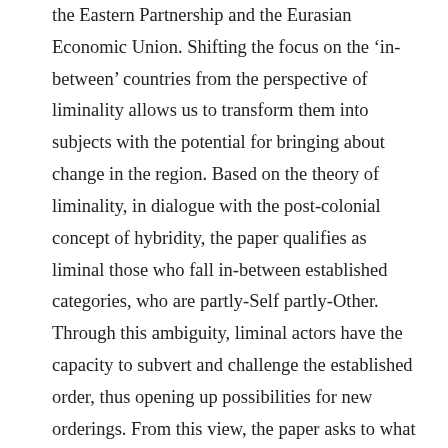the Eastern Partnership and the Eurasian Economic Union. Shifting the focus on the 'in-between' countries from the perspective of liminality allows us to transform them into subjects with the potential for bringing about change in the region. Based on the theory of liminality, in dialogue with the post-colonial concept of hybridity, the paper qualifies as liminal those who fall in-between established categories, who are partly-Self partly-Other. Through this ambiguity, liminal actors have the capacity to subvert and challenge the established order, thus opening up possibilities for new orderings. From this view, the paper asks to what extent Armenia, being on the 'margins' of both the EU and Russia, tries to turn this rather uncomfortable position into a source of agency and constitutive power. Concretely, considering the country's specific position as a member of the Russian-led Eurasian Economic Union, while still striving to deepen its cooperation with the EU, we wish to